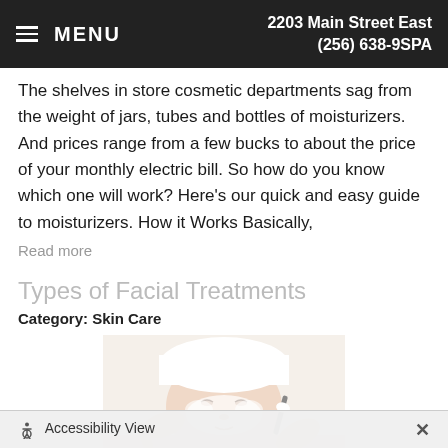MENU   2203 Main Street East   (256) 638-9SPA
The shelves in store cosmetic departments sag from the weight of jars, tubes and bottles of moisturizers. And prices range from a few bucks to about the price of your monthly electric bill. So how do you know which one will work? Here’s our quick and easy guide to moisturizers. How it Works Basically,
Read more
Types of Facial Treatments
Category: Skin Care
[Figure (photo): A woman lying down receiving a facial treatment, with white cream applied to her face and hands applying the treatment.]
Accessibility View  X